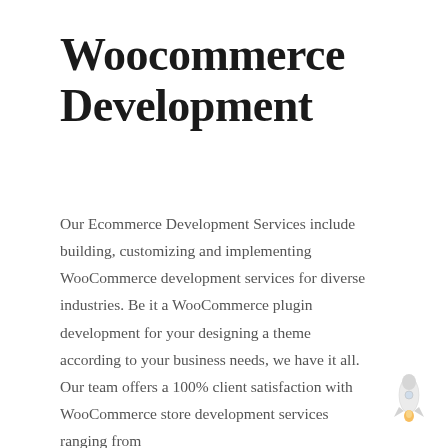Woocommerce Development
Our Ecommerce Development Services include building, customizing and implementing WooCommerce development services for diverse industries. Be it a WooCommerce plugin development for your designing a theme according to your business needs, we have it all. Our team offers a 100% client satisfaction with WooCommerce store development services ranging from
[Figure (illustration): Small rocket ship icon in bottom-right corner, white with orange flame detail]